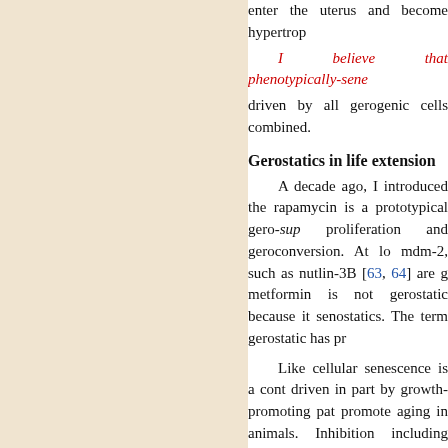enter the uterus and become hypertrop...
I believe that phenotypically-sene... driven by all gerogenic cells combined...
Gerostatics in life extension
A decade ago, I introduced the rapamycin is a prototypical gero-sup... proliferation and geroconversion. At lo... mdm-2, such as nutlin-3B [63, 64] are g... metformin is not gerostatic because it... senostatics. The term gerostatic has pr...
Like cellular senescence is a cont... driven in part by growth-promoting pat... promote aging in animals. Inhibition... including mammals. For example, mic... [69, 70] are small and live longer [68-7...
As a gerostatic, rapamycin suppre... slows aging, stem cell exhaustion and... [84] and Drosophila [85, 86]. Rapamyci...
Fisetin inhibits the PI3K/mTOR pa...
Fisetin (3, 7, 3' ,4'-tetrahydroxyfla... natural dual inhibitor of PI3K/Akt and... binding to mTOR and its downstream...